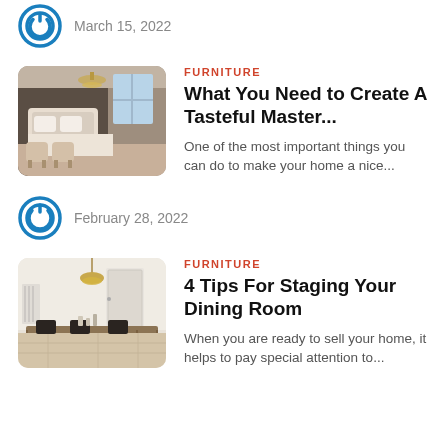March 15, 2022
[Figure (photo): Bedroom interior photo with chandelier lighting, large bed with white bedding and tufted headboard, two beige accent chairs, and large windows]
FURNITURE
What You Need to Create A Tasteful Master...
One of the most important things you can do to make your home a nice...
February 28, 2022
[Figure (photo): Dining room interior with long wooden table, black chairs, pendant lamp, white walls and door]
FURNITURE
4 Tips For Staging Your Dining Room
When you are ready to sell your home, it helps to pay special attention to...